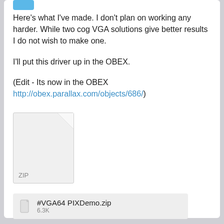[Figure (screenshot): Partial avatar/profile image at top left, blue rectangle]
Here's what I've made. I don't plan on working any harder. While two cog VGA solutions give better results I do not wish to make one.
I'll put this driver up in the OBEX.
(Edit - Its now in the OBEX http://obex.parallax.com/objects/686/)
[Figure (illustration): ZIP file icon with folded corner and ZIP label]
#VGA64 PIXDemo.zip
6.3K